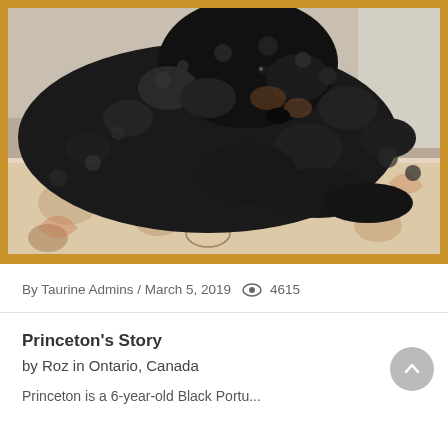[Figure (photo): A black curly-haired dog (appears to be a Poodle or Doodle mix) lying on a floral patterned rug. The photo is framed with a golden/amber border.]
By Taurine Admins / March 5, 2019  4615
Princeton's Story
by Roz in Ontario, Canada
Princeton is a 6-year-old Black Portu...